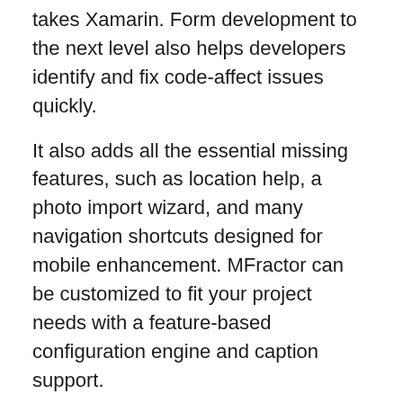takes Xamarin. Form development to the next level also helps developers identify and fix code-affect issues quickly.
It also adds all the essential missing features, such as location help, a photo import wizard, and many navigation shortcuts designed for mobile enhancement. MFractor can be customized to fit your project needs with a feature-based configuration engine and caption support.
Prism
This tool is a framework used to build secure, integrated, and scalable applications based on XAML on Xamarin. Forms, WPF, and Windows 10 UWP. Provides Xamarin app development company for several design patterns.
They are useful for writing well-designed and secure XAML applications, including commands, MVVM, EventAggregator, dependency injection, and more.